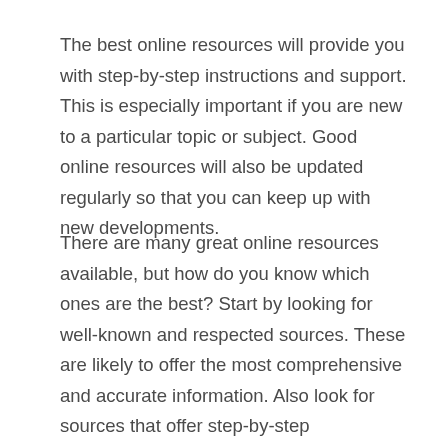The best online resources will provide you with step-by-step instructions and support. This is especially important if you are new to a particular topic or subject. Good online resources will also be updated regularly so that you can keep up with new developments.
There are many great online resources available, but how do you know which ones are the best? Start by looking for well-known and respected sources. These are likely to offer the most comprehensive and accurate information. Also look for sources that offer step-by-step instructions and support. This will help you make the most of the information you find.